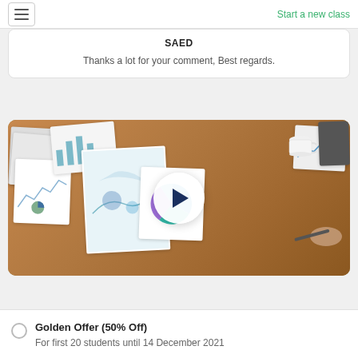Start a new class
SAED
Thanks a lot for your comment, Best regards.
[Figure (photo): Top-down view of a desk with scattered financial charts and papers, two people working, a coffee cup and tablet visible. A white circular play button overlay is centered on the image.]
Golden Offer (50% Off)
For first 20 students until 14 December 2021